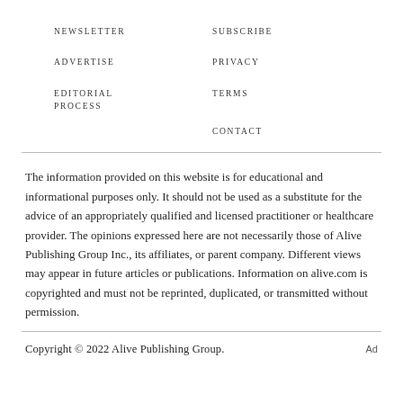NEWSLETTER
SUBSCRIBE
ADVERTISE
PRIVACY
EDITORIAL PROCESS
TERMS
CONTACT
The information provided on this website is for educational and informational purposes only. It should not be used as a substitute for the advice of an appropriately qualified and licensed practitioner or healthcare provider. The opinions expressed here are not necessarily those of Alive Publishing Group Inc., its affiliates, or parent company. Different views may appear in future articles or publications. Information on alive.com is copyrighted and must not be reprinted, duplicated, or transmitted without permission.
Copyright © 2022 Alive Publishing Group.